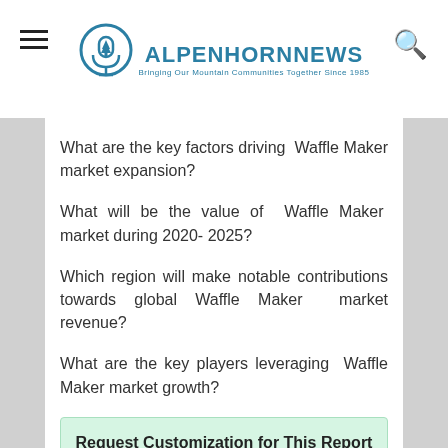AlpenhornNews — Bringing Our Mountain Communities Together Since 1985
What are the key factors driving  Waffle Maker market expansion?
What will be the value of  Waffle Maker  market during 2020- 2025?
Which region will make notable contributions towards global Waffle Maker  market revenue?
What are the key players leveraging  Waffle Maker market growth?
Request Customization for This Report @
https://alpenhornnews.com/request-for-customization/16851